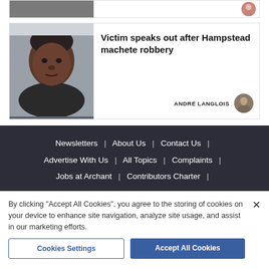[Figure (photo): Partial article card at top showing cropped photo thumbnail and small circular avatar on right]
[Figure (photo): Article card with photo of a young man (mugshot style) on the left]
Victim speaks out after Hampstead machete robbery
ANDRÉ LANGLOIS
Newsletters | About Us | Contact Us | Advertise With Us | All Topics | Complaints | Jobs at Archant | Contributors Charter |
By clicking "Accept All Cookies", you agree to the storing of cookies on your device to enhance site navigation, analyze site usage, and assist in our marketing efforts.
Cookies Settings
Accept All Cookies